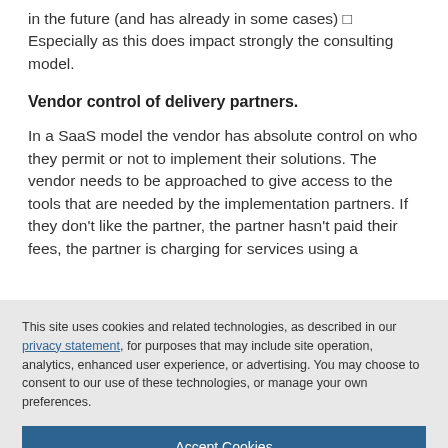in the future (and has already in some cases) □ Especially as this does impact strongly the consulting model.
Vendor control of delivery partners.
In a SaaS model the vendor has absolute control on who they permit or not to implement their solutions. The vendor needs to be approached to give access to the tools that are needed by the implementation partners. If they don't like the partner, the partner hasn't paid their fees, the partner is charging for services using a
This site uses cookies and related technologies, as described in our privacy statement, for purposes that may include site operation, analytics, enhanced user experience, or advertising. You may choose to consent to our use of these technologies, or manage your own preferences.
Accept Cookies
More Information
Privacy Policy | Powered by: TrustArc
monopolistic behaviour where smaller partners have been locked